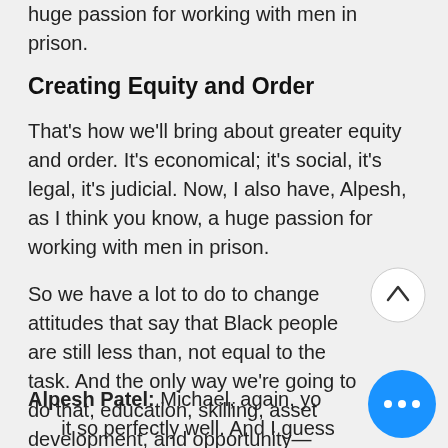huge passion for working with men in prison.
Creating Equity and Order
That's how we'll bring about greater equity and order. It's economical; it's social, it's legal, it's judicial. Now, I also have, Alpesh, as I think you know, a huge passion for working with men in prison.
So we have a lot to do to change attitudes that say that Black people are still less than, not equal to the task. And the only way we're going to do that, education, skilling, asset development, and opportunity—equity in society.
Alpesh Patel: Michael, again, you put it so perfectly well. And I guess people could look at this, and some could